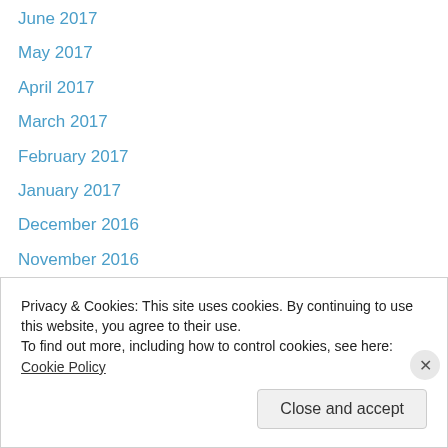June 2017
May 2017
April 2017
March 2017
February 2017
January 2017
December 2016
November 2016
September 2016
August 2016
July 2016
June 2016
May 2016
April 2016
Privacy & Cookies: This site uses cookies. By continuing to use this website, you agree to their use.
To find out more, including how to control cookies, see here: Cookie Policy
Close and accept